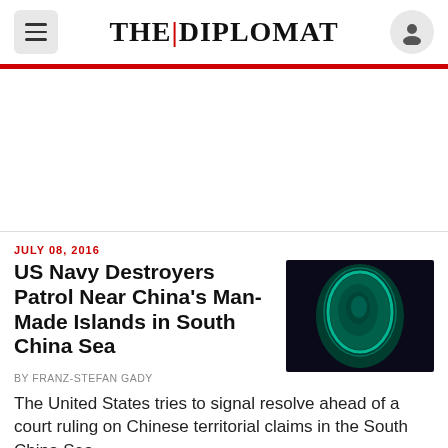THE|DIPLOMAT
[Figure (photo): Aerial/satellite view of a man-made island in the South China Sea glowing teal/green against dark water]
JULY 08, 2016
US Navy Destroyers Patrol Near China's Man-Made Islands in South China Sea
By FRANZ-STEFAN GADY
The United States tries to signal resolve ahead of a court ruling on Chinese territorial claims in the South China Sea.